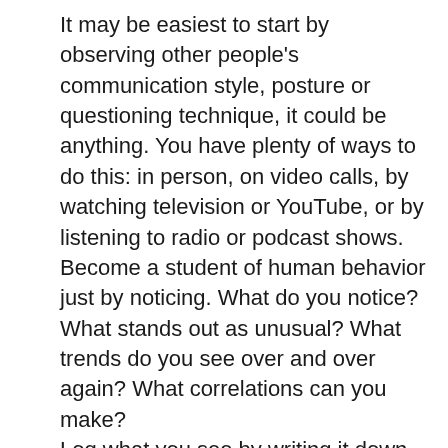It may be easiest to start by observing other people's communication style, posture or questioning technique, it could be anything. You have plenty of ways to do this: in person, on video calls, by watching television or YouTube, or by listening to radio or podcast shows. Become a student of human behavior just by noticing. What do you notice? What stands out as unusual? What trends do you see over and over again? What correlations can you make?
Log what you see by writing it down in a notebook or journal. The act of writing will help you pay even closer attention. Then discuss your findings with your coach, or whomever you want to share it with.